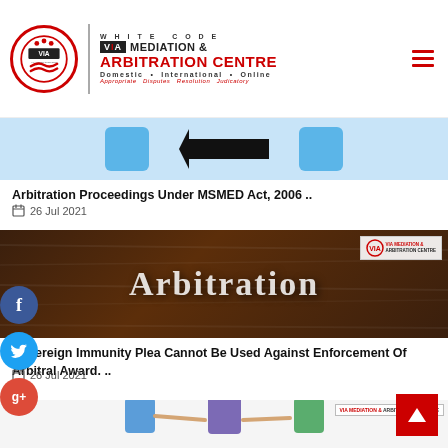WHITE CODE VIA MEDIATION & ARBITRATION CENTRE — Domestic • International • Online — Appropriate Disputes Resolution Judicatory
[Figure (photo): Partial image showing two blue rectangular shapes and a black double-headed arrow, from an article about Arbitration Proceedings Under MSMED Act]
Arbitration Proceedings Under MSMED Act, 2006 ..
26 Jul 2021
[Figure (photo): Dark wood background with the word 'Arbitration' in large white/cream letters, with VIA Mediation & Arbitration Centre badge overlay in top right]
Sovereign Immunity Plea Cannot Be Used Against Enforcement Of Arbitral Award. ..
26 Jul 2021
[Figure (illustration): Partial image showing cartoon-style illustration of three people in a mediation/discussion scene, with VIA Mediation & Arbitration Centre badge overlay]